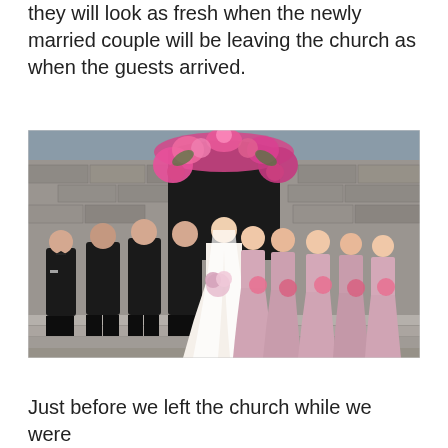they will look as fresh when the newly married couple will be leaving the church as when the guests arrived.
[Figure (photo): Wedding party posed on steps outside a stone church. Groom and groomsmen in black tuxedos on the left, bride in white dress with long veil in centre, bridesmaids in pink dresses on the right. Floral arch of pink flowers above the church door.]
Just before we left the church while we were